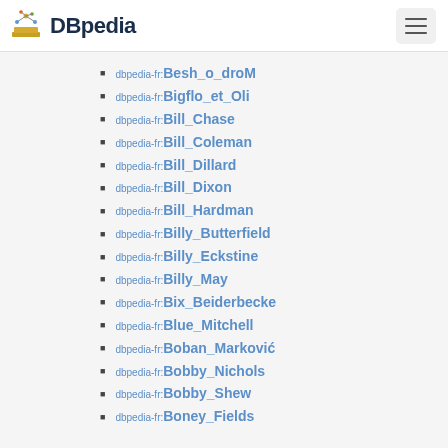DBpedia
dbpedia-fr:Besh_o_droM
dbpedia-fr:Bigflo_et_Oli
dbpedia-fr:Bill_Chase
dbpedia-fr:Bill_Coleman
dbpedia-fr:Bill_Dillard
dbpedia-fr:Bill_Dixon
dbpedia-fr:Bill_Hardman
dbpedia-fr:Billy_Butterfield
dbpedia-fr:Billy_Eckstine
dbpedia-fr:Billy_May
dbpedia-fr:Bix_Beiderbecke
dbpedia-fr:Blue_Mitchell
dbpedia-fr:Boban_Marković
dbpedia-fr:Bobby_Nichols
dbpedia-fr:Bobby_Shew
dbpedia-fr:Boney_Fields